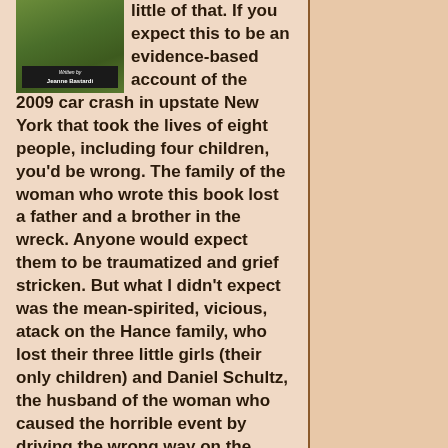[Figure (illustration): Book cover image showing a green outdoor scene with text at the bottom reading 'Written by Jeanne Bastardi' on a black background strip]
little of that. If you expect this to be an evidence-based account of the 2009 car crash in upstate New York that took the lives of eight people, including four children, you'd be wrong. The family of the woman who wrote this book lost a father and a brother in the wreck. Anyone would expect them to be traumatized and grief stricken. But what I didn't expect was the mean-spirited, vicious, atack on the Hance family, who lost their three little girls (their only children) and Daniel Schultz, the husband of the woman who caused the horrible event by driving the wrong way on the highway and crashing into another vehicle. Daniel Schultz lost his wife and a young daughter, and his young son was severely injured. Using sarcasm, innuendo, implication, speculation, and outright lies, and absolutely no evidence, Jeanne Bastardi lays the blame for the deaths of her